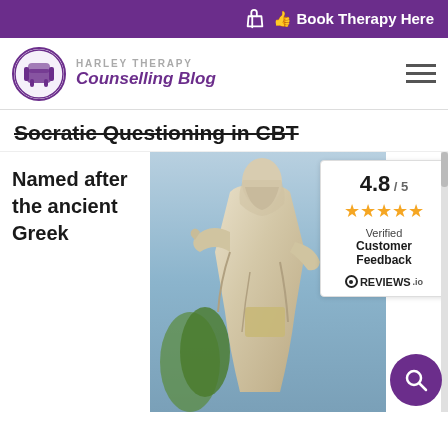Book Therapy Here
HARLEY THERAPY Counselling Blog
Socratic Questioning in CBT
Named after the ancient Greek
[Figure (photo): Marble statue of an ancient Greek philosopher (Plato) seated, gesturing with one hand, against a blue sky with trees in background]
4.8 / 5 ★★★★★ Verified Customer Feedback REVIEWS.io